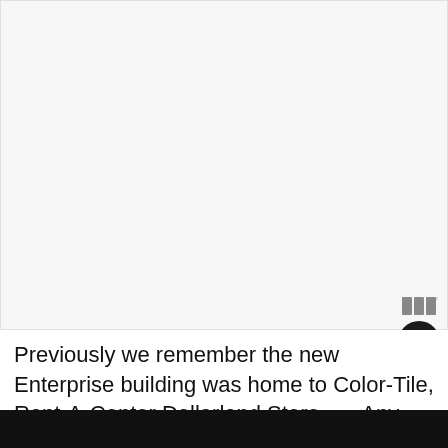[Figure (photo): Large blank/white image area placeholder representing a photo of an Enterprise building]
Previously we remember the new Enterprise building was home to Color-Tile, Rent-A-Center Dollarland Store...   Any others?